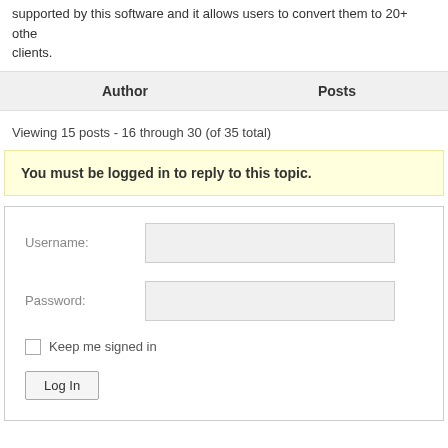supported by this software and it allows users to convert them to 20+ other clients.
| Author | Posts |
| --- | --- |
Viewing 15 posts - 16 through 30 (of 35 total)
You must be logged in to reply to this topic.
Username:
Password:
Keep me signed in
Log In